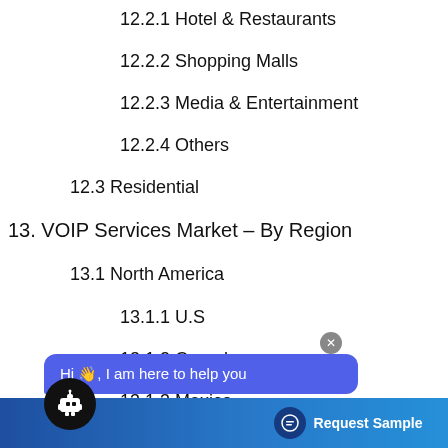12.2.1 Hotel & Restaurants
12.2.2 Shopping Malls
12.2.3 Media & Entertainment
12.2.4 Others
12.3 Residential
13. VOIP Services Market – By Region
13.1 North America
13.1.1 U.S
13.1.2 Canada
13.1.3 Mexico
13.2 South America
13.2.1 Brazil
13.2.2 Argentina
13.2.3 Rest of South America
13.3 Europe